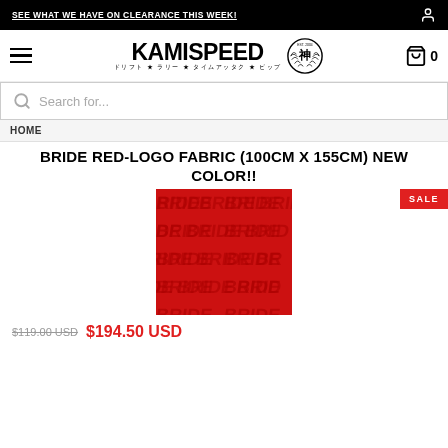SEE WHAT WE HAVE ON CLEARANCE THIS WEEK!
[Figure (logo): Kamispeed logo with Japanese text and kanji badge, EST. 2004]
Search for...
HOME
BRIDE RED-LOGO FABRIC (100CM X 155CM) NEW COLOR!!
[Figure (photo): Red BRIDE logo fabric showing repeating BRIDE text pattern in dark red on red background, with SALE badge in top right corner]
$119.00 USD  $194.50 USD